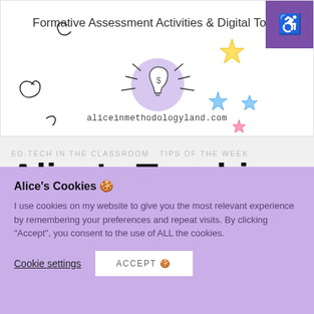[Figure (illustration): Website banner for aliceinmethodologyland.com showing 'Formative Assessment Activities & Digital Tools' with decorative doodles, a lightbulb in a purple circle, star characters, and a cartoon avatar of a woman. Purple accessibility icon in top-right corner.]
ED-TECH IN THE CLASSROOM   TIPS OF THE WEEK
Alice's Teaching Tips of
Alice's Cookies 🍪
I use cookies on my website to give you the most relevant experience by remembering your preferences and repeat visits. By clicking "Accept", you consent to the use of ALL the cookies.
Cookie settings   ACCEPT 🍪